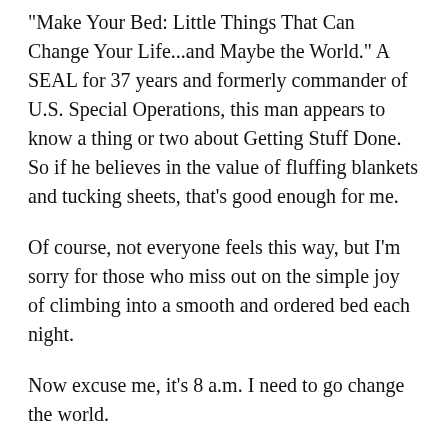"Make Your Bed: Little Things That Can Change Your Life...and Maybe the World." A SEAL for 37 years and formerly commander of U.S. Special Operations, this man appears to know a thing or two about Getting Stuff Done. So if he believes in the value of fluffing blankets and tucking sheets, that's good enough for me.
Of course, not everyone feels this way, but I'm sorry for those who miss out on the simple joy of climbing into a smooth and ordered bed each night.
Now excuse me, it's 8 a.m. I need to go change the world.
This article was originally published in the Daily News